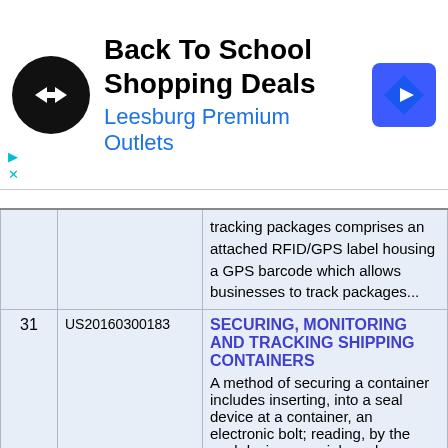[Figure (infographic): Advertisement banner: Back To School Shopping Deals at Leesburg Premium Outlets with company logo and navigation arrow icon]
| # | Patent No. | Description |
| --- | --- | --- |
|  |  | tracking packages comprises an attached RFID/GPS label housing a GPS barcode which allows businesses to track packages... |
| 31 | US20160300183 | SECURING, MONITORING AND TRACKING SHIPPING CONTAINERS
A method of securing a container includes inserting, into a seal device at a container, an electronic bolt; reading, by the seal device, a serial number stored in the electronic bolt;... |
| 32 | US20160264292 | COLLAPSIBLE SHIPPING CONTAINER
A collapsible and stackable shipping container for shipping a product may be reused and customized for the product to be shipped. The shipping container includes a base, a plurality of support... |
| 33 | US20150124557 | Physical Event Management During Asset... |